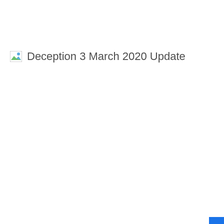[Figure (other): Broken image icon placeholder (small rectangle with landscape/image icon style)]
Deception 3 March 2020 Update